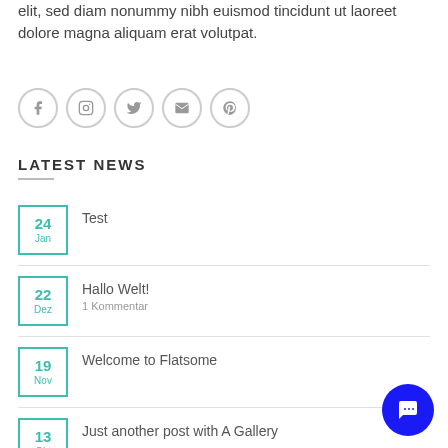elit, sed diam nonummy nibh euismod tincidunt ut laoreet dolore magna aliquam erat volutpat.
[Figure (illustration): Row of 5 social media icon circles (Facebook, Instagram, Twitter, Email, Pinterest) in light grey outline style]
LATEST NEWS
24 Jan — Test
22 Dez — Hallo Welt! — 1 Kommentar
19 Nov — Welcome to Flatsome
13 Okt — Just another post with A Gallery